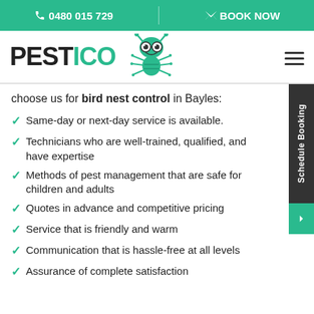📞 0480 015 729  |  ✉ BOOK NOW
[Figure (logo): PESTICO logo with green cartoon bug mascot and hamburger menu icon]
choose us for bird nest control in Bayles:
Same-day or next-day service is available.
Technicians who are well-trained, qualified, and have expertise
Methods of pest management that are safe for children and adults
Quotes in advance and competitive pricing
Service that is friendly and warm
Communication that is hassle-free at all levels
Assurance of complete satisfaction